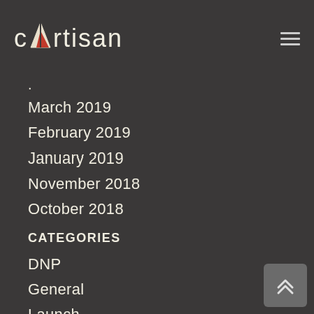cartisan
·
March 2019
February 2019
January 2019
November 2018
October 2018
CATEGORIES
DNP
General
Launch